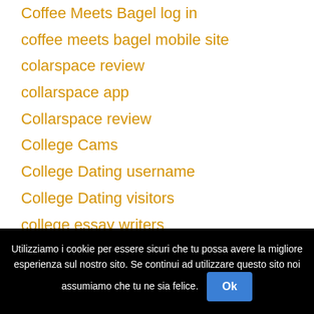Coffee Meets Bagel log in
coffee meets bagel mobile site
colarspace review
collarspace app
Collarspace review
College Cams
College Dating username
College Dating visitors
college essay writers
college essay writing
college essay writing service
College Guys XXX Sex
College Live
Collegelive Web Cam S...
Utilizziamo i cookie per essere sicuri che tu possa avere la migliore esperienza sul nostro sito. Se continui ad utilizzare questo sito noi assumiamo che tu ne sia felice. Ok